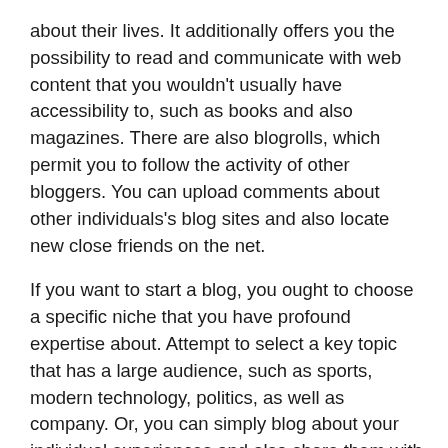about their lives. It additionally offers you the possibility to read and communicate with web content that you wouldn't usually have accessibility to, such as books and also magazines. There are also blogrolls, which permit you to follow the activity of other bloggers. You can upload comments about other individuals's blog sites and also locate new close friends on the net.
If you want to start a blog, you ought to choose a specific niche that you have profound expertise about. Attempt to select a key topic that has a large audience, such as sports, modern technology, politics, as well as company. Or, you can simply blog about your individual experiences and also share them with others. Your day-to-day regimen, style, takes a trip, or any other subject you locate fascinating will definitely acquire visitors. You can be the following Perez Hilton as well as make CNN appear like a plain newspaper. The opportunities are limitless.